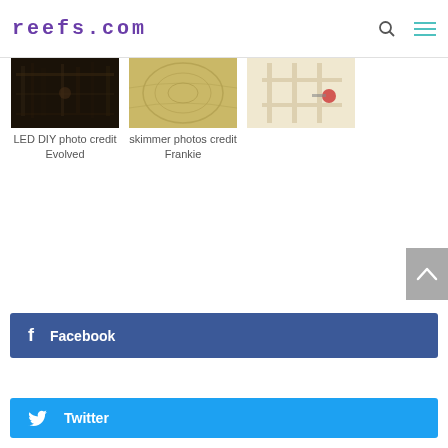reefs.com
[Figure (photo): LED DIY photo thumbnail - dark ceiling with lighting equipment]
LED DIY photo credit Evolved
[Figure (photo): Skimmer photo thumbnail - sandy/textured surface]
skimmer photos credit Frankie
[Figure (photo): Third thumbnail - person working on white frame/window]
Facebook
Twitter